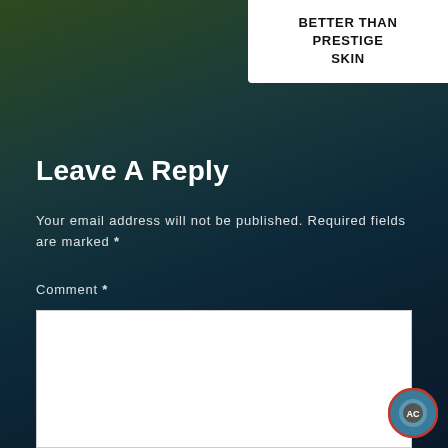BETTER THAN PRESTIGE SKIN
Leave A Reply
Your email address will not be published. Required fields are marked *
Comment *
[Figure (logo): Circular badge/avatar icon with dark teal background and red ring border, containing a small circular emblem]